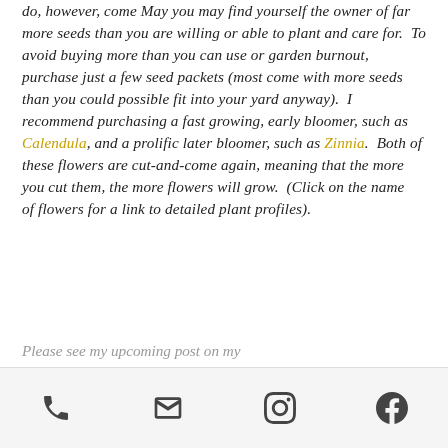do, however, come May you may find yourself the owner of far more seeds than you are willing or able to plant and care for. To avoid buying more than you can use or garden burnout, purchase just a few seed packets (most come with more seeds than you could possible fit into your yard anyway). I recommend purchasing a fast growing, early bloomer, such as Calendula, and a prolific later bloomer, such as Zinnia. Both of these flowers are cut-and-come again, meaning that the more you cut them, the more flowers will grow. (Click on the name of flowers for a link to detailed plant profiles).
Please see my upcoming post on my
[phone] [email] [instagram] [facebook]